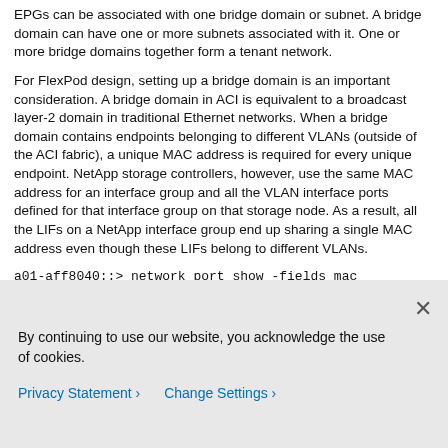EPGs can be associated with one bridge domain or subnet. A bridge domain can have one or more subnets associated with it. One or more bridge domains together form a tenant network.
For FlexPod design, setting up a bridge domain is an important consideration. A bridge domain in ACI is equivalent to a broadcast layer-2 domain in traditional Ethernet networks. When a bridge domain contains endpoints belonging to different VLANs (outside of the ACI fabric), a unique MAC address is required for every unique endpoint. NetApp storage controllers, however, use the same MAC address for an interface group and all the VLAN interface ports defined for that interface group on that storage node. As a result, all the LIFs on a NetApp interface group end up sharing a single MAC address even though these LIFs belong to different VLANs.
a01-aff8040::> network port show -fields mac
node             port         mac
-------------- ----         ----------------
By continuing to use our website, you acknowledge the use of cookies.
Privacy Statement  Change Settings